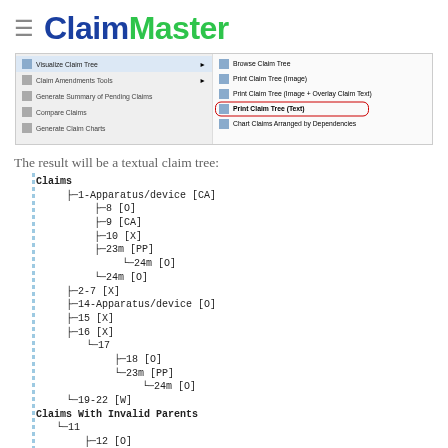ClaimMaster
[Figure (screenshot): ClaimMaster software menu screenshot showing Visualize Claim Tree submenu with options: Browse Claim Tree, Print Claim Tree (Image), Print Claim Tree (Image + Overlay Claim Text), Print Claim Tree (Text) [highlighted with red oval], Chart Claims Arranged by Dependencies. Also shows Claim Amendments Tools, Generate Summary of Pending Claims, Compare Claims, Generate Claim Charts menu items.]
The result will be a textual claim tree:
[Figure (other): Textual claim tree showing Claims hierarchy: 1-Apparatus/device [CA] with children 8[O], 9[CA], 10[X], 23m[PP] (with child 24m[O]), 24m[O]; 2-7[X]; 14-Apparatus/device[O]; 15[X]; 16[X] with child 17 (children 18[O], 23m[PP] with child 24m[O]); 19-22[W]. Claims With Invalid Parents: 11 (children 12[O], 13[O])]